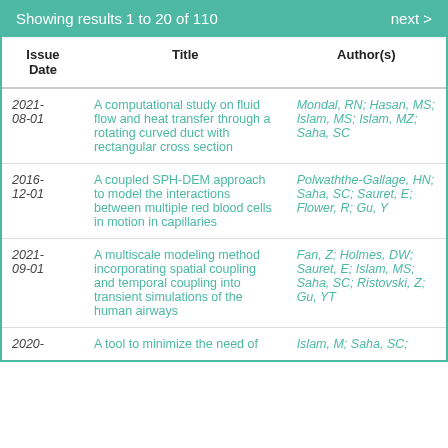Showing results 1 to 20 of 110   next >
| Issue Date | Title | Author(s) |
| --- | --- | --- |
| 2021-08-01 | A computational study on fluid flow and heat transfer through a rotating curved duct with rectangular cross section | Mondal, RN; Hasan, MS; Islam, MS; Islam, MZ; Saha, SC |
| 2016-12-01 | A coupled SPH-DEM approach to model the interactions between multiple red blood cells in motion in capillaries | Polwaththe-Gallage, HN; Saha, SC; Sauret, E; Flower, R; Gu, Y |
| 2021-09-01 | A multiscale modeling method incorporating spatial coupling and temporal coupling into transient simulations of the human airways | Fan, Z; Holmes, DW; Sauret, E; Islam, MS; Saha, SC; Ristovski, Z; Gu, YT |
| 2020- | A tool to minimize the need of | Islam, M; Saha, SC; |